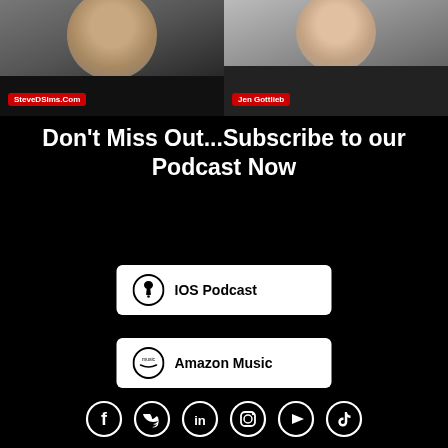[Figure (photo): Two-panel photo strip: left shows a man with white beard in black clothing with 'SteveDSims.Com' red badge; right shows a woman in black top with 'Jen Gottlieb' red badge]
Don't Miss Out...Subscribe to our Podcast Now
[Figure (infographic): IOS Podcast button with Apple logo icon]
[Figure (infographic): Amazon Music button with Amazon Music logo icon]
[Figure (infographic): Social media icons row: Facebook, Twitter, LinkedIn, Instagram, YouTube, TikTok]